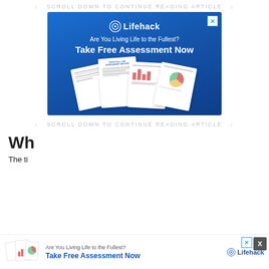SCROLL DOWN TO CONTINUE READING ARTICLE
[Figure (infographic): Lifehack advertisement banner with blue gradient background. Shows Lifehack logo at top, text 'Are You Living Life to the Fullest? Take Free Assessment Now', with illustrated document pages below including a life assessment report. An X close button appears in top right.]
SCROLL DOWN TO CONTINUE READING ARTICLE
Wh...
The ti...
[Figure (infographic): Sticky bottom banner ad for Lifehack showing small document thumbnails on left, 'Are You Living Life to the Fullest? Take Free Assessment Now' in center, Lifehack logo on right, with X close buttons.]